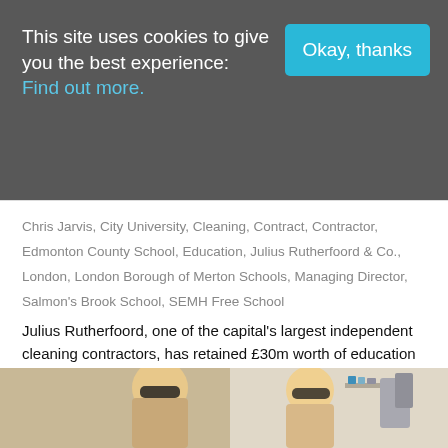This site uses cookies to give you the best experience: Find out more. [Okay, thanks button]
Chris Jarvis, City University, Cleaning, Contract, Contractor, Edmonton County School, Education, Julius Rutherfoord & Co., London, London Borough of Merton Schools, Managing Director, Salmon's Brook School, SEMH Free School
Julius Rutherfoord, one of the capital's largest independent cleaning contractors, has retained £30m worth of education cleaning contracts, awarded in
Read more
[Figure (photo): Photo showing two people wearing eye protection/goggles, appearing to be in a salon or clinic setting]